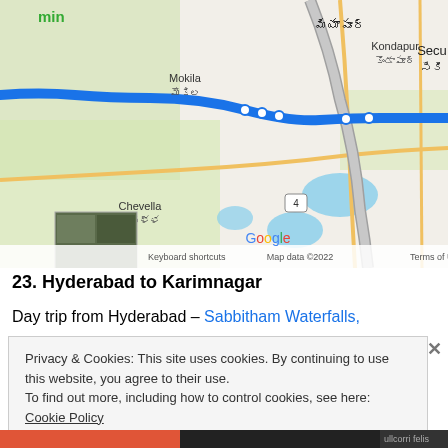[Figure (map): Google Maps screenshot showing a route from Hyderabad area through Mokila toward Secunderabad, with a blue route line. Labels include Kondapur/కొండాపూర్, Mokila/మొకిల, Chevella/చేవెళ్ళ, Secu (Secunderabad)/సికి. A zoom control (+/-) is visible. Map footer shows 'Keyboard shortcuts', 'Map data ©2022', 'Terms of Use'. A satellite thumbnail is in the lower left. Green 'min' label at top left.]
23. Hyderabad to Karimnagar
Day trip from Hyderabad – Sabbitham Waterfalls,
Privacy & Cookies: This site uses cookies. By continuing to use this website, you agree to their use.
To find out more, including how to control cookies, see here: Cookie Policy
Close and accept